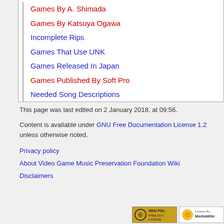Games By A. Shimada
Games By Katsuya Ogawa
Incomplete Rips
Games That Use UNK
Games Released In Japan
Games Published By Soft Pro
Needed Song Descriptions
This page was last edited on 2 January 2018, at 09:56.
Content is available under GNU Free Documentation License 1.2 unless otherwise noted.
Privacy policy
About Video Game Music Preservation Foundation Wiki
Disclaimers
[Figure (logo): GNU FDL Free Doc License badge and Powered by MediaWiki badge]